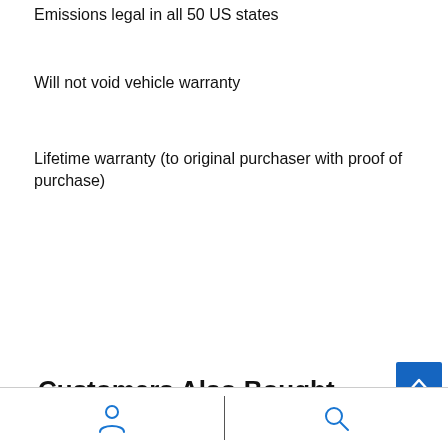Emissions legal in all 50 US states
Will not void vehicle warranty
Lifetime warranty (to original purchaser with proof of purchase)
Customers Also Bought
[Figure (other): Bottom navigation bar with person/account icon on left and search icon on right, separated by a vertical divider line]